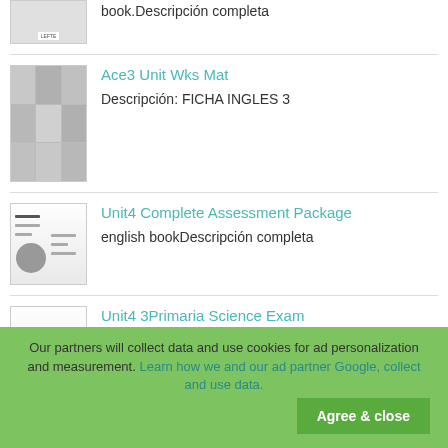[Figure (screenshot): Partial thumbnail of a document with small label text]
book.Descripción completa
[Figure (screenshot): Thumbnail showing a grid of comic/photo images for Ace3 Unit Wks Mat]
Ace3 Unit Wks Mat
Descripción: FICHA INGLES 3
[Figure (screenshot): Thumbnail of English book document for Unit4 Complete Assessment Package]
Unit4 Complete Assessment Package
english bookDescripción completa
[Figure (screenshot): Thumbnail of science exam document for Unit4 3Primaria Science Exam]
Unit4 3Primaria Science Exam
Examen para 3 primaria, unidad 4, las plantas. En Inglés.Descripción completa
Our partners will collect data and use cookies for ad personalization and measurement. Learn how we and our ad partner Google, collect and use data.
Agree & close